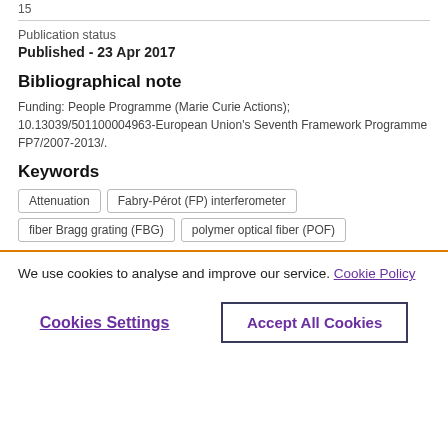15
Publication status
Published - 23 Apr 2017
Bibliographical note
Funding: People Programme (Marie Curie Actions); 10.13039/501100004963-European Union's Seventh Framework Programme FP7/2007-2013/.
Keywords
Attenuation
Fabry-Pérot (FP) interferometer
fiber Bragg grating (FBG)
polymer optical fiber (POF)
We use cookies to analyse and improve our service. Cookie Policy
Cookies Settings
Accept All Cookies